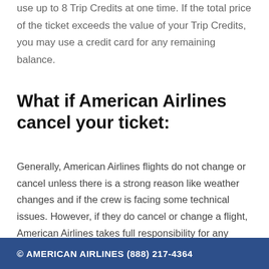use up to 8 Trip Credits at one time. If the total price of the ticket exceeds the value of your Trip Credits, you may use a credit card for any remaining balance.
What if American Airlines cancel your ticket:
Generally, American Airlines flights do not change or cancel unless there is a strong reason like weather changes and if the crew is facing some technical issues. However, if they do cancel or change a flight, American Airlines takes full responsibility for any expenses.
© AMERICAN AIRLINES (888) 217-4364